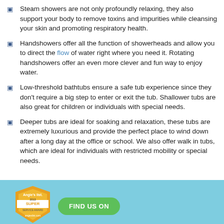Steam showers are not only profoundly relaxing, they also support your body to remove toxins and impurities while cleansing your skin and promoting respiratory health.
Handshowers offer all the function of showerheads and allow you to direct the flow of water right where you need it. Rotating handshowers offer an even more clever and fun way to enjoy water.
Low-threshold bathtubs ensure a safe tub experience since they don't require a big step to enter or exit the tub. Shallower tubs are also great for children or individuals with special needs.
Deeper tubs are ideal for soaking and relaxation, these tubs are extremely luxurious and provide the perfect place to wind down after a long day at the office or school. We also offer walk in tubs, which are ideal for individuals with restricted mobility or special needs.
[Figure (logo): Angie's List 2013 Super Service Award badge and Find Us On button on a light blue footer bar]